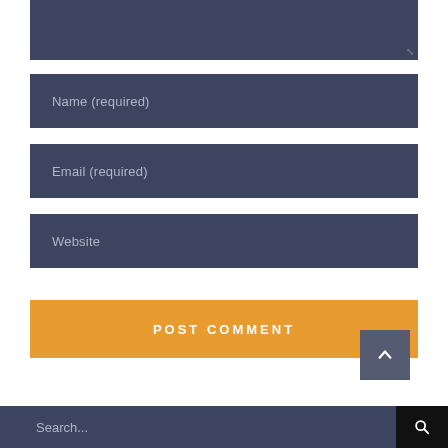[Figure (screenshot): Comment textarea (top, partially visible, dark blue-gray background with resize handle)]
Name (required)
Email (required)
Website
POST COMMENT
[Figure (other): Back-to-top button (dark gray square with upward chevron arrow)]
Search...